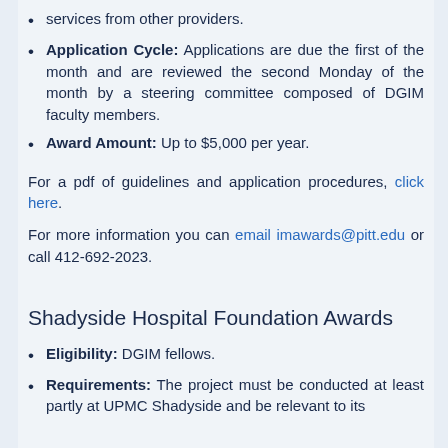services from other providers.
Application Cycle: Applications are due the first of the month and are reviewed the second Monday of the month by a steering committee composed of DGIM faculty members.
Award Amount: Up to $5,000 per year.
For a pdf of guidelines and application procedures, click here.
For more information you can email imawards@pitt.edu or call 412-692-2023.
Shadyside Hospital Foundation Awards
Eligibility: DGIM fellows.
Requirements: The project must be conducted at least partly at UPMC Shadyside and be relevant to its